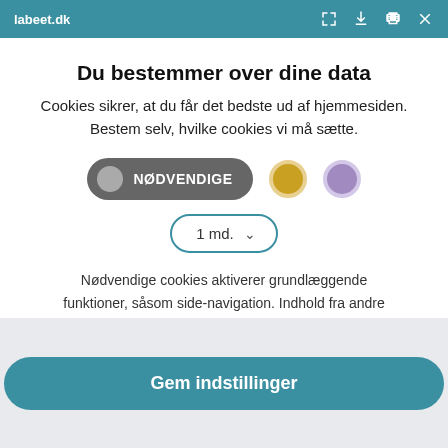labeet.dk
Du bestemmer over dine data
Cookies sikrer, at du får det bedste ud af hjemmesiden. Bestem selv, hvilke cookies vi må sætte.
NØDVENDIGE
1 md.
Nødvendige cookies aktiverer grundlæggende funktioner, såsom side-navigation. Indhold fra andre websites vil ikke blive vist (YouTube, Twitter, Facebook mm).
Gem indstillinger